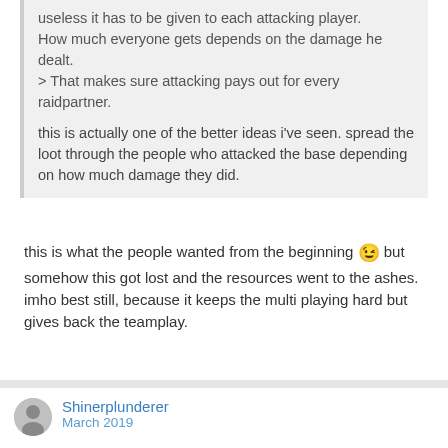useless it has to be given to each attacking player. How much everyone gets depends on the damage he dealt.
> That makes sure attacking pays out for every raidpartner.

this is actually one of the better ideas i've seen. spread the loot through the people who attacked the base depending on how much damage they did.
this is what the people wanted from the beginning 😉 but somehow this got lost and the resources went to the ashes. imho best still, because it keeps the multi playing hard but gives back the teamplay.
Shinerplunderer
March 2019
Hows about having the resources focused on base raids and outpost hunting? I read that in the old world, resources come from raiding. Also make it more harder to hunt for bases. It